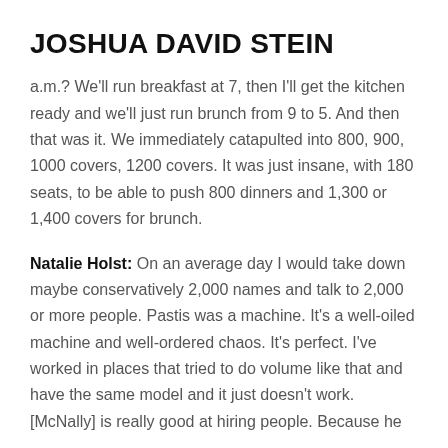JOSHUA DAVID STEIN
a.m.? We'll run breakfast at 7, then I'll get the kitchen ready and we'll just run brunch from 9 to 5. And then that was it. We immediately catapulted into 800, 900, 1000 covers, 1200 covers. It was just insane, with 180 seats, to be able to push 800 dinners and 1,300 or 1,400 covers for brunch.
Natalie Holst: On an average day I would take down maybe conservatively 2,000 names and talk to 2,000 or more people. Pastis was a machine. It's a well-oiled machine and well-ordered chaos. It's perfect. I've worked in places that tried to do volume like that and have the same model and it just doesn't work. [McNally] is really good at hiring people. Because he